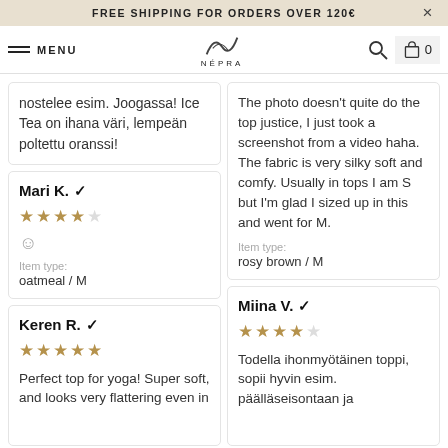FREE SHIPPING FOR ORDERS OVER 120€
MENU | NÉPRA | 0
nostelee esim. Joogassa! Ice Tea on ihana väri, lempeän poltettu oranssi!
The photo doesn't quite do the top justice, I just took a screenshot from a video haha. The fabric is very silky soft and comfy. Usually in tops I am S but I'm glad I sized up in this and went for M.
Item type: rosy brown / M
Mari K. ✔ ★★★★☆ 😊 Item type: oatmeal / M
Keren R. ✔ ★★★★★ Perfect top for yoga! Super soft, and looks very flattering even in
Miina V. ✔ ★★★★☆ Todella ihonmyötäinen toppi, sopii hyvin esim. päälläseisontaan ja